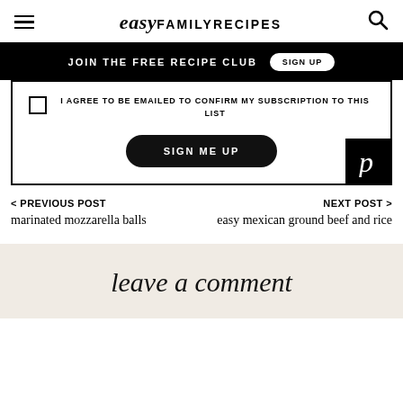easy FAMILY RECIPES
JOIN THE FREE RECIPE CLUB  SIGN UP
I AGREE TO BE EMAILED TO CONFIRM MY SUBSCRIPTION TO THIS LIST
SIGN ME UP
< PREVIOUS POST
marinated mozzarella balls
NEXT POST >
easy mexican ground beef and rice
leave a comment